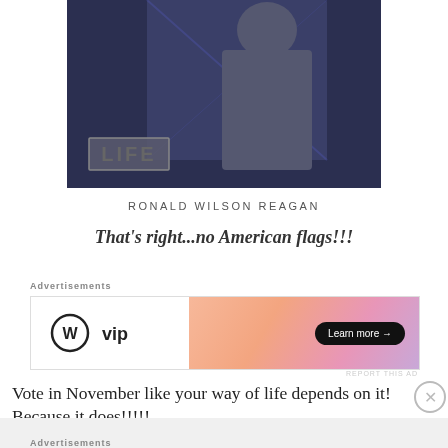[Figure (photo): A cropped photo of a person in dark clothing, with a LIFE magazine logo/badge visible in the lower left of the image.]
RONALD WILSON REAGAN
That's right...no American flags!!!
[Figure (other): Advertisement banner: WordPress VIP logo on left, gradient background on right with 'Learn more →' button.]
Vote in November like your way of life depends on it! Because it does!!!!!
Advertisements